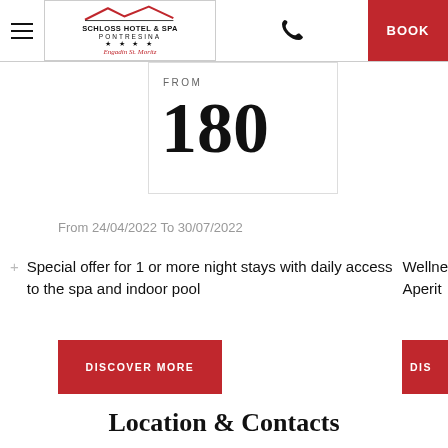[Figure (logo): Schloss Hotel & Spa Pontresina logo with mountain silhouette and Engadin St. Moritz tagline]
FROM
180
From 24/04/2022 To 30/07/2022
Special offer for 1 or more night stays with daily access to the spa and indoor pool
Wellness
Aperit
DISCOVER MORE
DIS
Location & Contacts